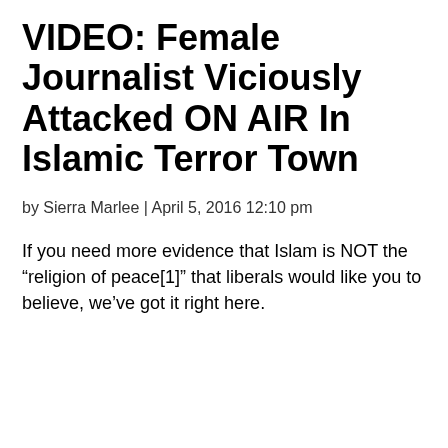VIDEO: Female Journalist Viciously Attacked ON AIR In Islamic Terror Town
by Sierra Marlee | April 5, 2016 12:10 pm
If you need more evidence that Islam is NOT the “religion of peace[1]” that liberals would like you to believe, we’ve got it right here.